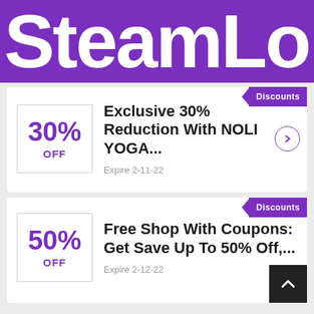SteamLo
Discounts — Exclusive 30% Reduction With NOLI YOGA... Expire 2-11-22
Discounts — Free Shop With Coupons: Get Save Up To 50% Off,... Expire 2-12-22